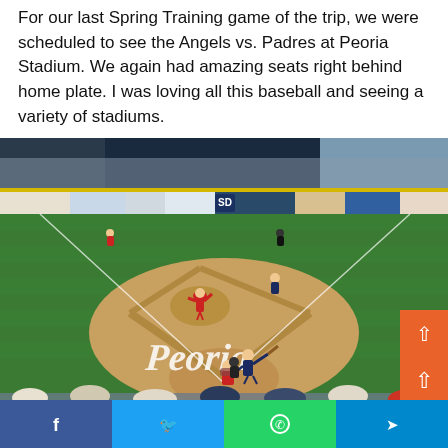For our last Spring Training game of the trip, we were scheduled to see the Angels vs. Padres at Peoria Stadium. We again had amazing seats right behind home plate. I was loving all this baseball and seeing a variety of stadiums.
[Figure (photo): Baseball game at Peoria Stadium during Spring Training. View from behind home plate showing batter, catcher, umpire, pitcher on mound, and outfield stands. 'Peoria' written in cursive on the grass. Crowd visible in background and foreground.]